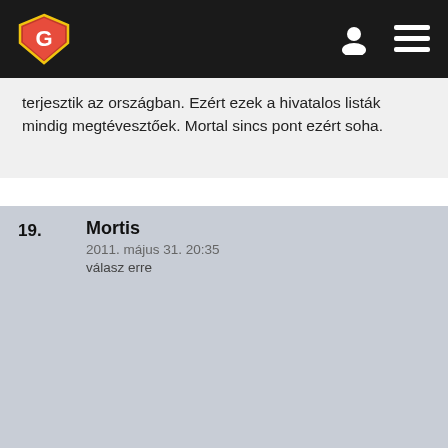G [logo] [user icon] [menu icon]
terjesztik az országban. Ezért ezek a hivatalos listák mindig megtévesztőek. Mortal sincs pont ezért soha.
19. Mortis
2011. május 31. 20:35
válasz erre
#15: A Skyrim legerősebb része előreláthatólag a hangulat lesz( meg talán a grafika). Kevés az esélye, hogy olyan jó történetet írjanak, mint a régi részekben, hisz manapság sokkal nehezebb eredetinek lenni. :)
Ettől függetlenül nekem a bejelentése óta az év játéka várományosa, hisz az epikusságot nálam semmi sem tudja überelni. S a jelek szerint a TES V elég sok epikus pillanatot tartogat.